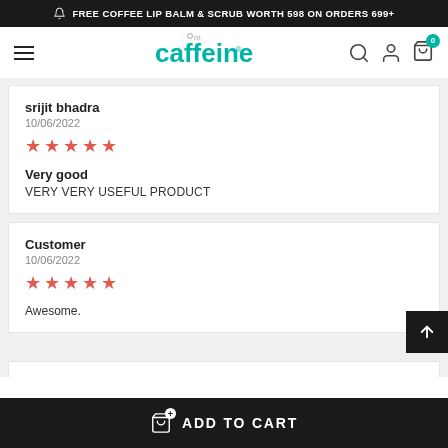FREE COFFEE LIP BALM & SCRUB WORTH 598 ON ORDERS 699+
[Figure (logo): mCaffeine logo in teal/green color]
srijit bhadra
10/06/2022
★★★★★
Very good
VERY VERY USEFUL PRODUCT
Customer
10/06/2022
★★★★★
Awesome.
ADD TO CART